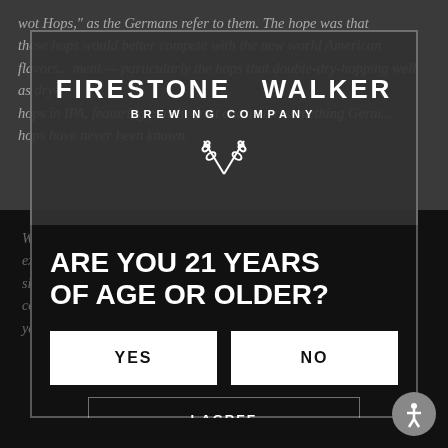wot Hops, as the Germans refer to them. The hope was that these hops would better compete with the new world American flavors... ment — particularly the hops that double-dry-hopping well as dry hops in IPA, featuring punchy fruit character, something German hops have never been known.
[Figure (logo): Firestone Walker Brewing Company logo with crossed wheat/hop icons]
We use cookies to enhance your browsing experience. Cookies enable personalization, analyze site usage, and assist in our marketing efforts. By continuing to browse or by clicking "Accept Cookies" you agree to our use of cookies.
ARE YOU 21 YEARS OF AGE OR OLDER?
YES
NO
I AGREE